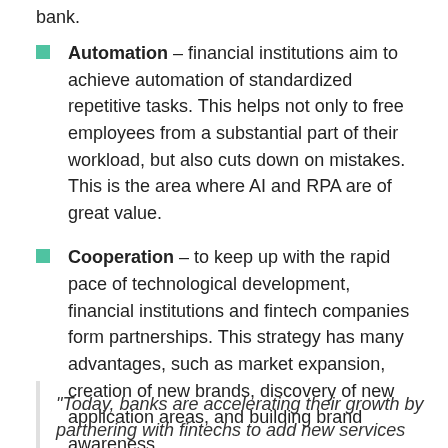bank.
Automation – financial institutions aim to achieve automation of standardized repetitive tasks. This helps not only to free employees from a substantial part of their workload, but also cuts down on mistakes. This is the area where AI and RPA are of great value.
Cooperation – to keep up with the rapid pace of technological development, financial institutions and fintech companies form partnerships. This strategy has many advantages, such as market expansion, creation of new brands, discovery of new application areas, and building brand awareness.
“Today, banks are accelerating their growth by partnering with fintechs to add new services